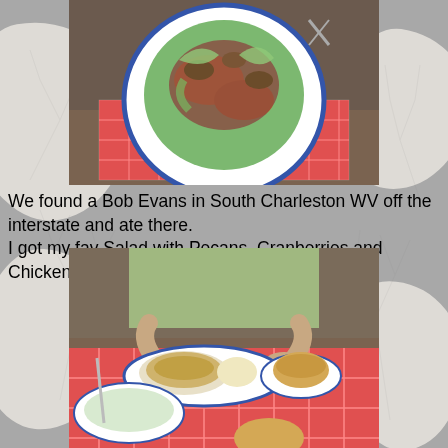[Figure (photo): A salad with pecans, cranberries, and chicken served on a white plate with blue rim, on a red and white checkered tablecloth at Bob Evans restaurant]
We found a Bob Evans in South Charleston WV off the interstate and ate there.
I got my fav Salad with Pecans, Cranberries and Chicken.
[Figure (photo): A person sitting at a table at Bob Evans restaurant with a plate containing chicken and gravy dish, a biscuit on a side plate, coleslaw, and red checkered tablecloth]